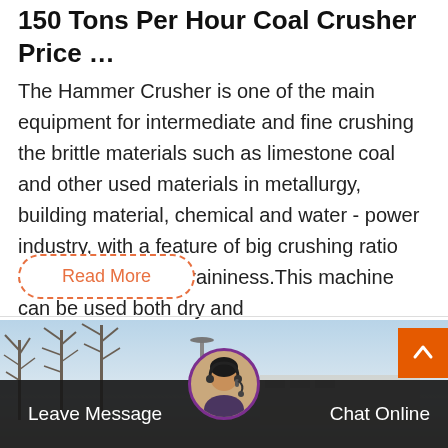150 Tons Per Hour Coal Crusher Price …
The Hammer Crusher is one of the main equipment for intermediate and fine crushing the brittle materials such as limestone coal and other used materials in metallurgy, building material, chemical and water - power industry, with a feature of big crushing ratio and even product graininess.This machine can be used both dry and crushing of brittle, medium-hard …
[Figure (illustration): Live Chat speech bubble icon with 'Live Chat' text in blue]
Read More
[Figure (photo): Outdoor scene with bare winter trees against a light blue sky, industrial building visible]
Leave Message
Chat Online